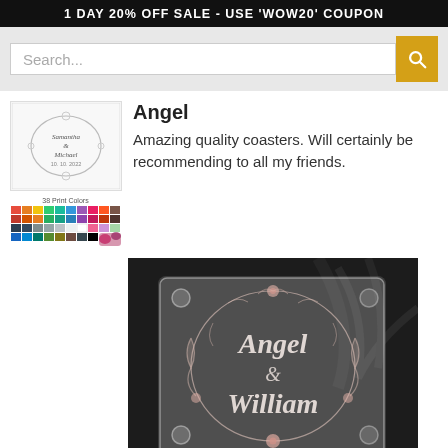1 DAY 20% OFF SALE - USE 'WOW20' COUPON
Search...
[Figure (photo): Product thumbnail: wedding coaster with floral wreath and names Samantha & Michael]
[Figure (illustration): 36 Print Colors color swatch grid with floral accent]
Angel
Amazing quality coasters. Will certainly be recommending to all my friends.
[Figure (photo): Acrylic glass coaster with engraved floral wreath and names Angel & William in cursive script, on dark surface]